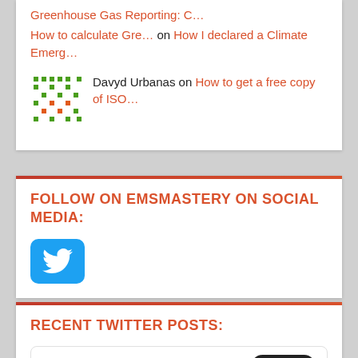Greenhouse Gas Reporting: C… (link)
How to calculate Gre… on How I declared a Climate Emerg…
Davyd Urbanas on How to get a free copy of ISO…
FOLLOW ON EMSMASTERY ON SOCIAL MEDIA:
[Figure (logo): Twitter bird logo icon on blue rounded square background]
RECENT TWITTER POSTS:
Tweets from @EMSmastery  Follow